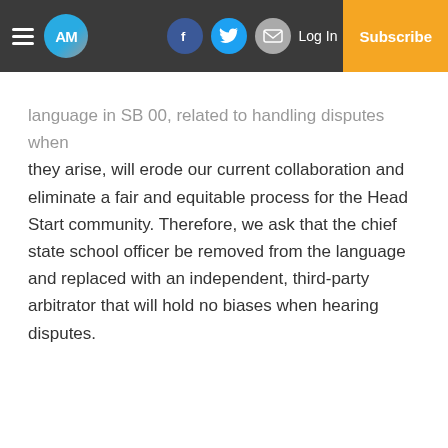AM | Log In | Subscribe
language in SB 00, related to handling disputes when they arise, will erode our current collaboration and eliminate a fair and equitable process for the Head Start community. Therefore, we ask that the chief state school officer be removed from the language and replaced with an independent, third-party arbitrator that will hold no biases when hearing disputes.